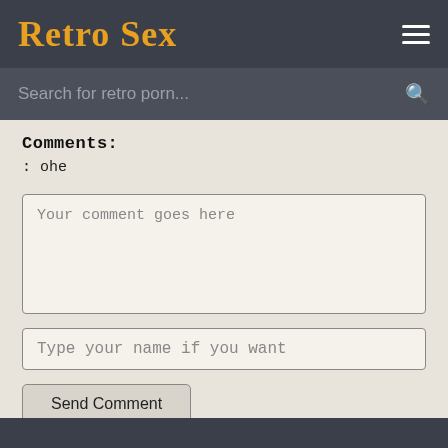Retro Sex
Comments:
: ohe
Your comment goes here
Type your name if you want
Send Comment